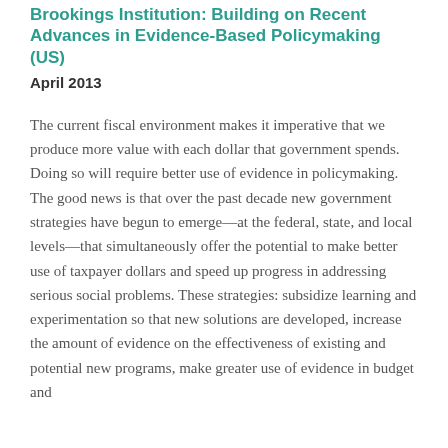Brookings Institution: Building on Recent Advances in Evidence-Based Policymaking (US)
April 2013
The current fiscal environment makes it imperative that we produce more value with each dollar that government spends. Doing so will require better use of evidence in policymaking. The good news is that over the past decade new government strategies have begun to emerge—at the federal, state, and local levels—that simultaneously offer the potential to make better use of taxpayer dollars and speed up progress in addressing serious social problems. These strategies: subsidize learning and experimentation so that new solutions are developed, increase the amount of evidence on the effectiveness of existing and potential new programs, make greater use of evidence in budget and